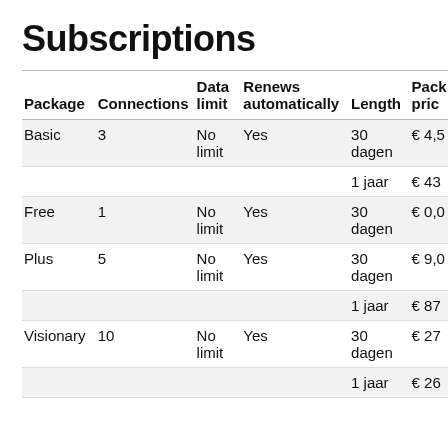Subscriptions
| Package | Connections | Data limit | Renews automatically | Length | Package price |
| --- | --- | --- | --- | --- | --- |
| Basic | 3 | No limit | Yes | 30 dagen | € 4,5… |
|  |  |  |  | 1 jaar | € 43… |
| Free | 1 | No limit | Yes | 30 dagen | € 0,0… |
| Plus | 5 | No limit | Yes | 30 dagen | € 9,0… |
|  |  |  |  | 1 jaar | € 87… |
| Visionary | 10 | No limit | Yes | 30 dagen | € 27… |
|  |  |  |  | 1 jaar | € 26… |